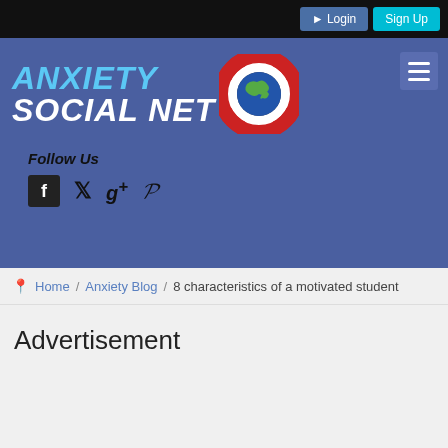Login  Sign Up
[Figure (logo): Anxiety Social Net logo with globe lifesaver icon and text ANXIETY SOCIAL NET in blue and white italic bold font on a blue-purple background. Hamburger menu button top right. Follow Us section with Facebook, Twitter, Google+, and Pinterest social icons.]
Home / Anxiety Blog / 8 characteristics of a motivated student
Advertisement